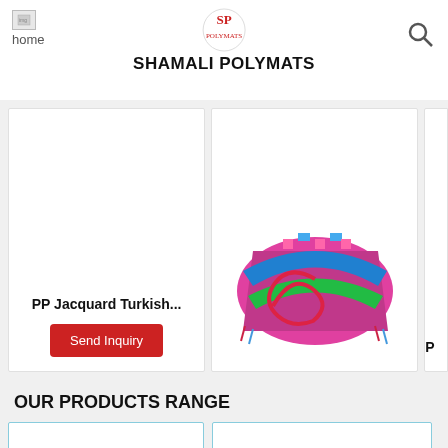SHAMALI POLYMATS
[Figure (screenshot): Product card showing PP Jacquard Turkish... with Send Inquiry button]
[Figure (photo): Sleeping Colour Mat product image - colorful woven mat with geometric patterns in pink, blue and green]
PP Jacquard Turkish...
Sleeping Colour Mat
P
OUR PRODUCTS RANGE
[Figure (screenshot): Empty product card placeholder (left)]
[Figure (screenshot): Empty product card placeholder (right)]